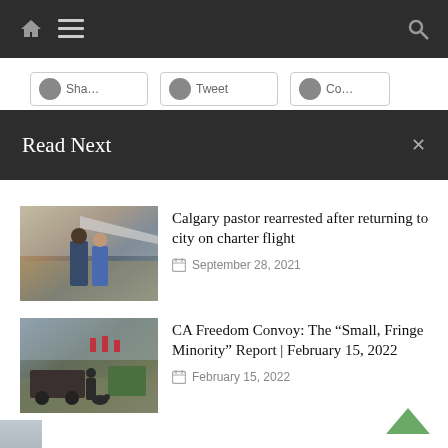Navigation bar with home, menu, and search icons
Read Next
[Figure (photo): Police officer arresting a man near a charter aircraft on a tarmac]
Calgary pastor rearrested after returning to city on charter flight
September 28, 2021
[Figure (photo): Convoy scene with trucks, Canadian flags, and a person with a dog]
CA Freedom Convoy: The “Small, Fringe Minority” Report | February 15, 2022
February 15, 2022